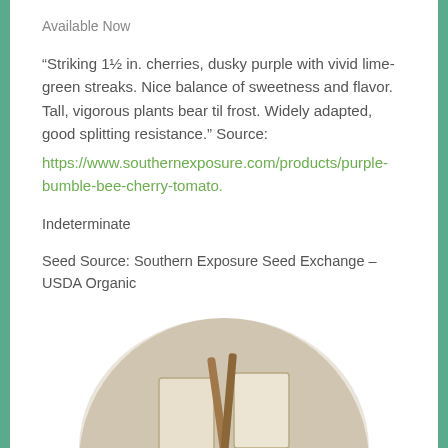Available Now
“Striking 1½ in. cherries, dusky purple with vivid lime-green streaks. Nice balance of sweetness and flavor. Tall, vigorous plants bear til frost. Widely adapted, good splitting resistance.” Source: https://www.southernexposure.com/products/purple-bumble-bee-cherry-tomato.
Indeterminate
Seed Source: Southern Exposure Seed Exchange – USDA Organic
[Figure (photo): Circular cropped photo showing seed packets or seed envelopes on a light fabric background, with wooden sticks.]